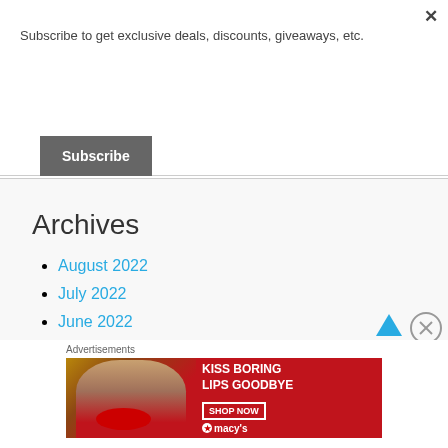Subscribe to get exclusive deals, discounts, giveaways, etc.
Subscribe
Archives
August 2022
July 2022
June 2022
May 2022
April 2022
Advertisements
[Figure (photo): Macy's advertisement banner: 'KISS BORING LIPS GOODBYE' with a woman's face showing red lips, and a 'SHOP NOW' button with the Macy's star logo]